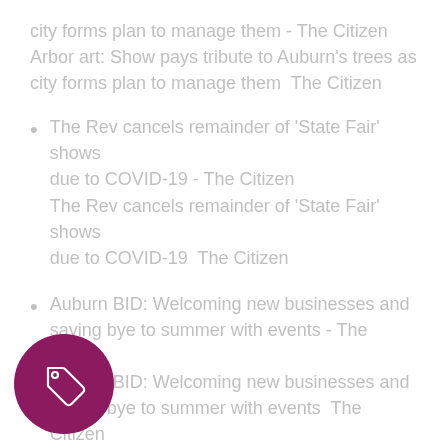city forms plan to manage them - The Citizen Arbor art: Show pays tribute to Auburn's trees as city forms plan to manage them  The Citizen
The Rev cancels remainder of 'State Fair' shows due to COVID-19 - The Citizen
The Rev cancels remainder of 'State Fair' shows due to COVID-19  The Citizen
Auburn BID: Welcoming new businesses and saying bye to summer with events - The Citizen
Auburn BID: Welcoming new businesses and saying bye to summer with events  The Citizen
oes Not Accept Plea Deal In Limo Crash
e - Finger Lakes Daily News
[Figure (illustration): Dark magenta/purple circle with a white price tag icon in the center]